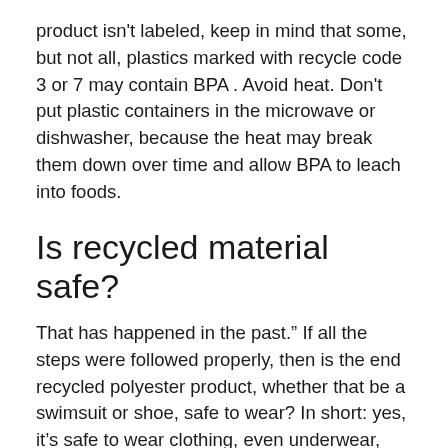product isn't labeled, keep in mind that some, but not all, plastics marked with recycle code 3 or 7 may contain BPA . Avoid heat. Don't put plastic containers in the microwave or dishwasher, because the heat may break them down over time and allow BPA to leach into foods.
Is recycled material safe?
That has happened in the past.” If all the steps were followed properly, then is the end recycled polyester product, whether that be a swimsuit or shoe, safe to wear? In short: yes, it’s safe to wear clothing, even underwear, made from post-consumer plastic water bottles.